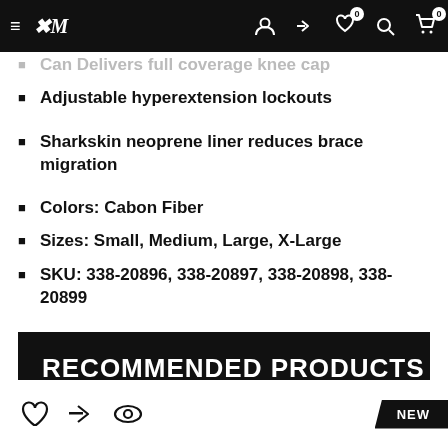Navigation bar with hamburger menu, logo, and icons (account, compare, wishlist 0, search, cart 0)
Can Delivers full coverage knee cap
Adjustable hyperextension lockouts
Sharkskin neoprene liner reduces brace migration
Colors: Cabon Fiber
Sizes: Small, Medium, Large, X-Large
SKU: 338-20896, 338-20897, 338-20898, 338-20899
RECOMMENDED PRODUCTS
[Figure (other): Bottom action icons: heart/wishlist, compare, eye/view icons, and NEW badge tag]